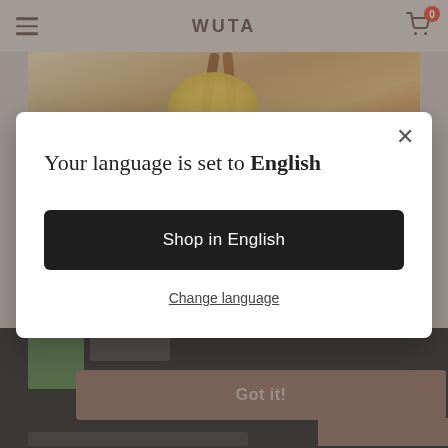[Figure (screenshot): WUTA website header with hamburger menu on left, WUTA logo in center, shopping cart with badge 0 on right, over a beige/brown background with product images (spices/food items). A language selection modal dialog is overlaid showing 'Your language is set to English' with 'Shop in English' button and 'Change language' link. Background shows a partially visible product banner and a dark bottom bar with 'Got it!' button.]
Your language is set to English
Shop in English
Change language
Got it!